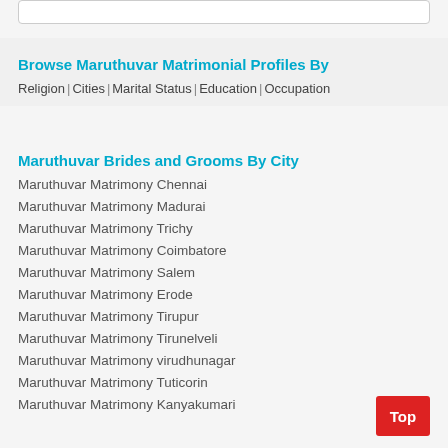Browse Maruthuvar Matrimonial Profiles By
Religion | Cities | Marital Status | Education | Occupation
Maruthuvar Brides and Grooms By City
Maruthuvar Matrimony Chennai
Maruthuvar Matrimony Madurai
Maruthuvar Matrimony Trichy
Maruthuvar Matrimony Coimbatore
Maruthuvar Matrimony Salem
Maruthuvar Matrimony Erode
Maruthuvar Matrimony Tirupur
Maruthuvar Matrimony Tirunelveli
Maruthuvar Matrimony virudhunagar
Maruthuvar Matrimony Tuticorin
Maruthuvar Matrimony Kanyakumari